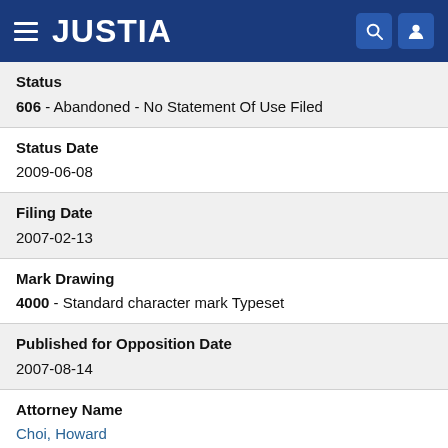JUSTIA
Status
606 - Abandoned - No Statement Of Use Filed
Status Date
2009-06-08
Filing Date
2007-02-13
Mark Drawing
4000 - Standard character mark Typeset
Published for Opposition Date
2007-08-14
Attorney Name
Choi, Howard